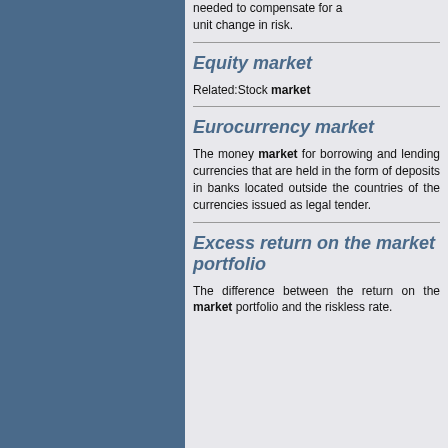needed to compensate for a unit change in risk.
Equity market
Related:Stock market
Eurocurrency market
The money market for borrowing and lending currencies that are held in the form of deposits in banks located outside the countries of the currencies issued as legal tender.
Excess return on the market portfolio
The difference between the return on the market portfolio and the riskless rate.